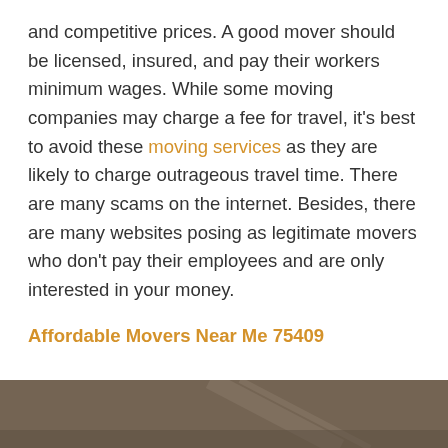and competitive prices. A good mover should be licensed, insured, and pay their workers minimum wages. While some moving companies may charge a fee for travel, it's best to avoid these moving services as they are likely to charge outrageous travel time. There are many scams on the internet. Besides, there are many websites posing as legitimate movers who don't pay their employees and are only interested in your money.
Affordable Movers Near Me 75409
[Figure (photo): Dark brownish-gray background image at the bottom of the page, appearing to show a surface or material in dim lighting.]